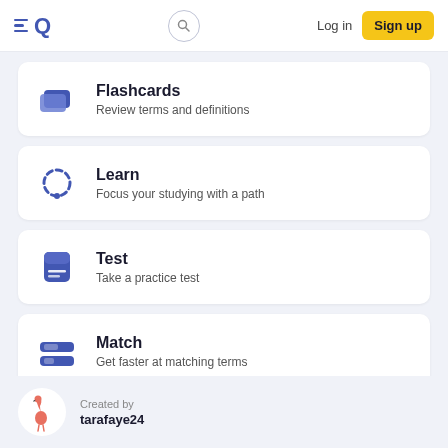Quizlet — Log in | Sign up
Flashcards — Review terms and definitions
Learn — Focus your studying with a path
Test — Take a practice test
Match — Get faster at matching terms
Created by
tarafaye24